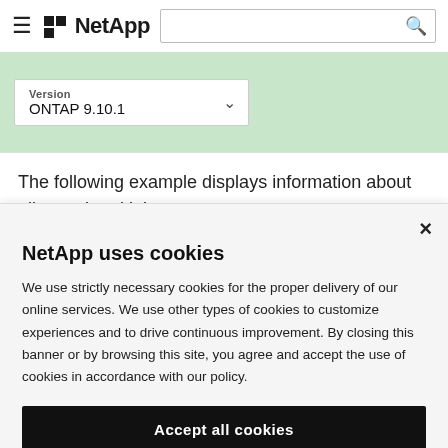NetApp — Version: ONTAP 9.10.1
The following example displays information about all completed jobs:
NetApp uses cookies

We use strictly necessary cookies for the proper delivery of our online services. We use other types of cookies to customize experiences and to drive continuous improvement. By closing this banner or by browsing this site, you agree and accept the use of cookies in accordance with our policy.

Accept all cookies

Cookie settings